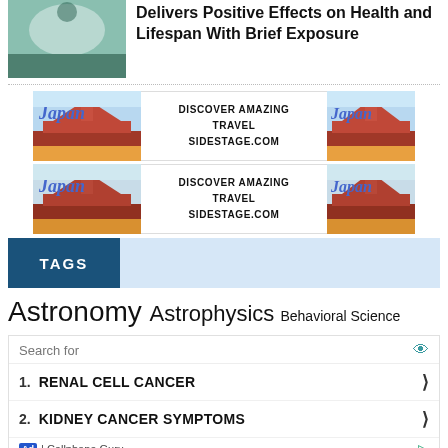Delivers Positive Effects on Health and Lifespan With Brief Exposure
[Figure (photo): Japan travel advertisement banner with Mt. Fuji and pagoda imagery]
[Figure (photo): Japan travel advertisement banner with Mt. Fuji and pagoda imagery (second row)]
TAGS
Astronomy Astrophysics Behavioral Science
Search for
1. RENAL CELL CANCER
2. KIDNEY CANCER SYMPTOMS
Ad | Cellphone Guru